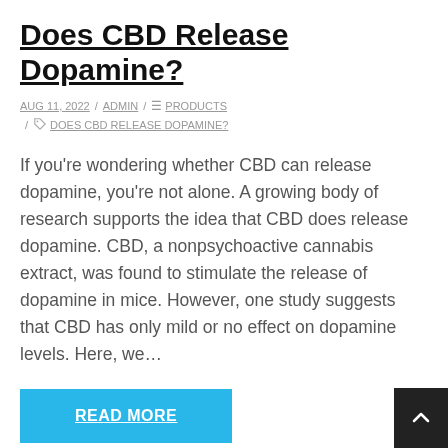Does CBD Release Dopamine?
AUG 11, 2022 / ADMIN / PRODUCTS / DOES CBD RELEASE DOPAMINE?
If you're wondering whether CBD can release dopamine, you're not alone. A growing body of research supports the idea that CBD does release dopamine. CBD, a nonpsychoactive cannabis extract, was found to stimulate the release of dopamine in mice. However, one study suggests that CBD has only mild or no effect on dopamine levels. Here, we…
READ MORE